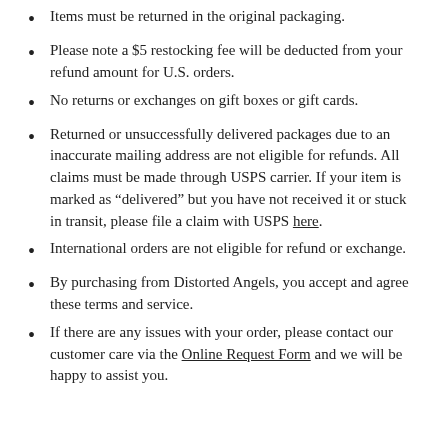Items must be returned in the original packaging.
Please note a $5 restocking fee will be deducted from your refund amount for U.S. orders.
No returns or exchanges on gift boxes or gift cards.
Returned or unsuccessfully delivered packages due to an inaccurate mailing address are not eligible for refunds. All claims must be made through USPS carrier. If your item is marked as “delivered” but you have not received it or stuck in transit, please file a claim with USPS here.
International orders are not eligible for refund or exchange.
By purchasing from Distorted Angels, you accept and agree these terms and service.
If there are any issues with your order, please contact our customer care via the Online Request Form and we will be happy to assist you.